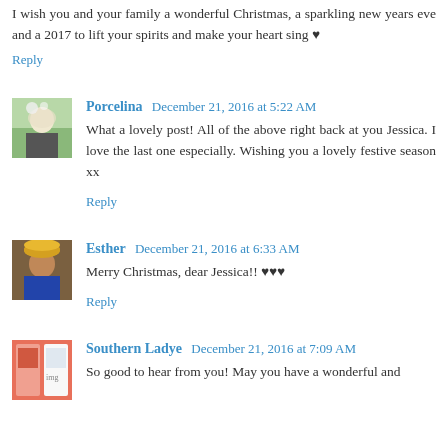I wish you and your family a wonderful Christmas, a sparkling new years eve and a 2017 to lift your spirits and make your heart sing ♥
Reply
Porcelina  December 21, 2016 at 5:22 AM
What a lovely post! All of the above right back at you Jessica. I love the last one especially. Wishing you a lovely festive season xx
Reply
Esther  December 21, 2016 at 6:33 AM
Merry Christmas, dear Jessica!! ♥♥♥
Reply
Southern Ladye  December 21, 2016 at 7:09 AM
So good to hear from you! May you have a wonderful and